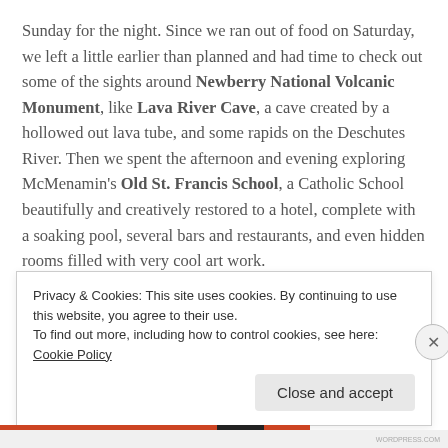Sunday for the night. Since we ran out of food on Saturday, we left a little earlier than planned and had time to check out some of the sights around Newberry National Volcanic Monument, like Lava River Cave, a cave created by a hollowed out lava tube, and some rapids on the Deschutes River. Then we spent the afternoon and evening exploring McMenamin's Old St. Francis School, a Catholic School beautifully and creatively restored to a hotel, complete with a soaking pool, several bars and restaurants, and even hidden rooms filled with very cool art work.
Privacy & Cookies: This site uses cookies. By continuing to use this website, you agree to their use.
To find out more, including how to control cookies, see here: Cookie Policy